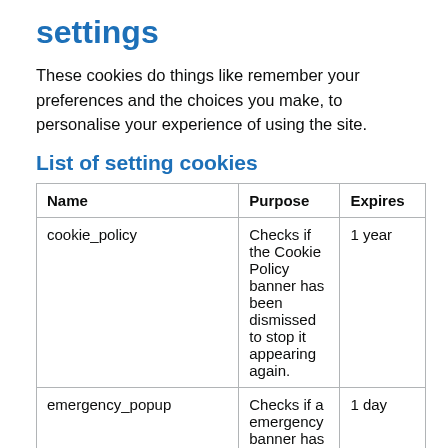settings
These cookies do things like remember your preferences and the choices you make, to personalise your experience of using the site.
List of setting cookies
| Name | Purpose | Expires |
| --- | --- | --- |
| cookie_policy | Checks if the Cookie Policy banner has been dismissed to stop it appearing again. | 1 year |
| emergency_popup | Checks if a emergency banner has | 1 day |